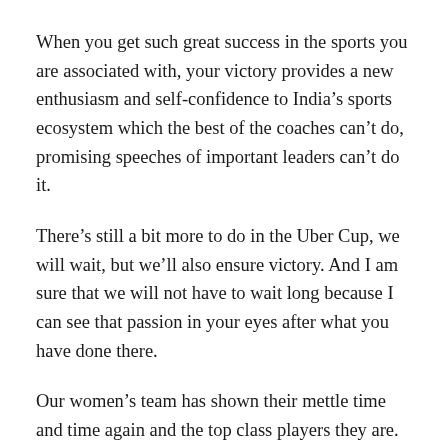When you get such great success in the sports you are associated with, your victory provides a new enthusiasm and self-confidence to India’s sports ecosystem which the best of the coaches can’t do, promising speeches of important leaders can’t do it.
There’s still a bit more to do in the Uber Cup, we will wait, but we’ll also ensure victory. And I am sure that we will not have to wait long because I can see that passion in your eyes after what you have done there.
Our women’s team has shown their mettle time and time again and the top class players they are. I can see very clearly friends that it is a matter of time. If not this time, then the next time for sure! Victory will be yours.
And as you all said that the Amrit Mahotsav of independence, the 75 years of independence, is going on